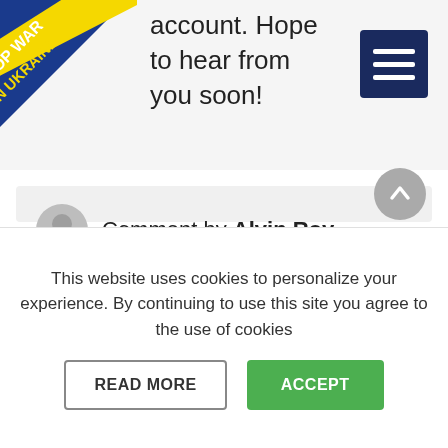account. Hope to hear from you soon!
[Figure (illustration): Stop War In Ukraine diagonal banner/ribbon in blue and yellow at top-left corner]
[Figure (other): Dark blue hamburger menu icon (three horizontal lines) at top-right]
Comment by Alvin Roy
Thanks for this post. Nice comparison of ecommerce platforms. Your writing is also good. We can define here our e-commerce platforms to make an e-commerce portal. Here are a fresh comparison of all
This website uses cookies to personalize your experience. By continuing to use this site you agree to the use of cookies